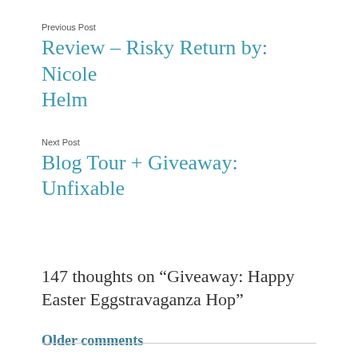Previous Post
Review – Risky Return by: Nicole Helm
Next Post
Blog Tour + Giveaway: Unfixable
147 thoughts on “Giveaway: Happy Easter Eggstravaganza Hop”
Older comments